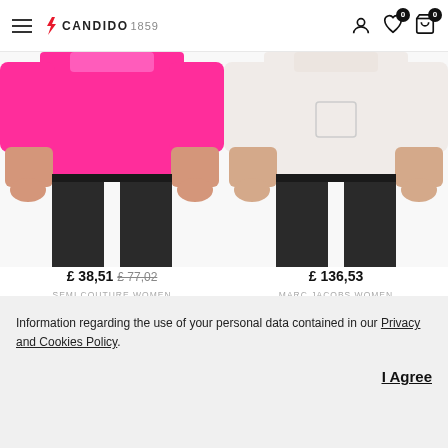CANDIDO 1859 — navigation header with hamburger menu, logo, user icon, wishlist (0), cart (0)
[Figure (photo): Woman wearing bright pink/rose sweater with black leggings — product photo cropped at torso]
£ 38,51  £ 77,02
SEMI COUTURE WOMEN
SWEATER ROSE
[Figure (photo): Woman wearing white/cream sweater with black leggings — product photo cropped at torso]
£ 136,53
MARC JACOBS WOMEN
SWEATER WHITE
Information regarding the use of your personal data contained in our Privacy and Cookies Policy.
I Agree